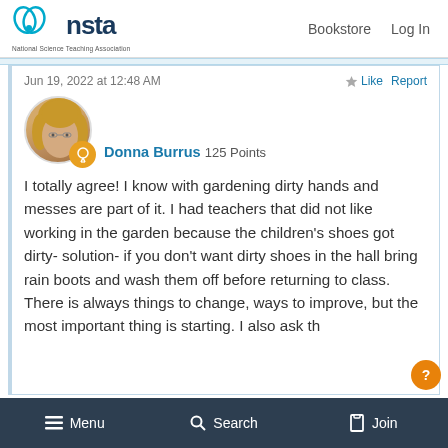NSTA - National Science Teaching Association | Bookstore | Log In
Jun 19, 2022 at 12:48 AM
Donna Burrus 125 Points
I totally agree! I know with gardening dirty hands and messes are part of it. I had teachers that did not like working in the garden because the children's shoes got dirty- solution- if you don't want dirty shoes in the hall bring rain boots and wash them off before returning to class. There is always things to change, ways to improve, but the most important thing is starting. I also ask th
Menu | Search | Join